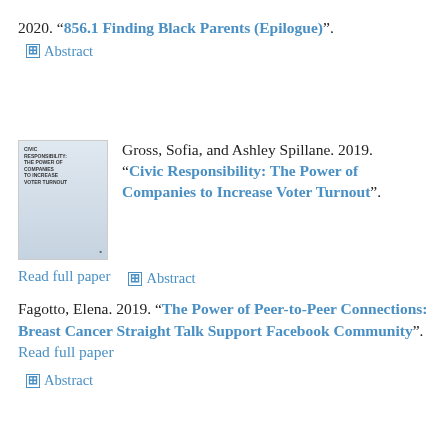2020. “856.1 Finding Black Parents (Epilogue)”.
⊞ Abstract
Gross, Sofia, and Ashley Spillane. 2019. “Civic Responsibility: The Power of Companies to Increase Voter Turnout”.
[Figure (illustration): Book cover for Civic Responsibility: The Power of Companies to Increase Voter Turnout]
Read full paper   ⊞ Abstract
Fagotto, Elena. 2019. “The Power of Peer-to-Peer Connections: Breast Cancer Straight Talk Support Facebook Community”. Read full paper
⊞ Abstract